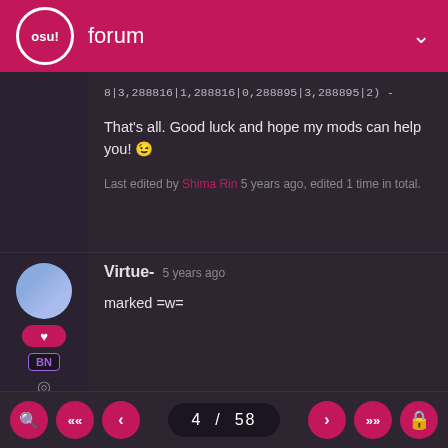osu! forum
8|3,288816|1,288816|0,288895|3,288895|2) -
That's all. Good luck and hope my mods can help you! 😉
Last edited by Shima Rin 5 years ago, edited 1 time in total.
Virtue-  5 years ago

marked =w=
TOPIC STARTER
Arzenvald  5 years ago
4 / 58